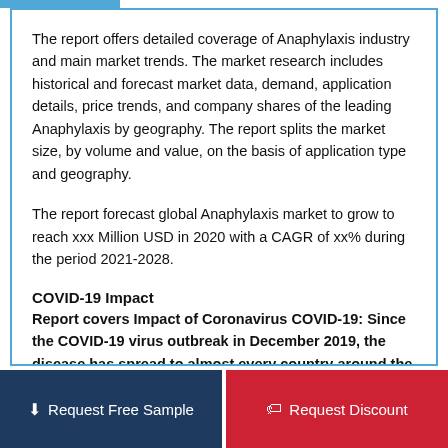The report offers detailed coverage of Anaphylaxis industry and main market trends. The market research includes historical and forecast market data, demand, application details, price trends, and company shares of the leading Anaphylaxis by geography. The report splits the market size, by volume and value, on the basis of application type and geography.
The report forecast global Anaphylaxis market to grow to reach xxx Million USD in 2020 with a CAGR of xx% during the period 2021-2028.
COVID-19 Impact
Report covers Impact of Coronavirus COVID-19: Since the COVID-19 virus outbreak in December 2019, the disease has spread to almost every country around the globe with the World Health Organization declaring it a public health emergency. Th